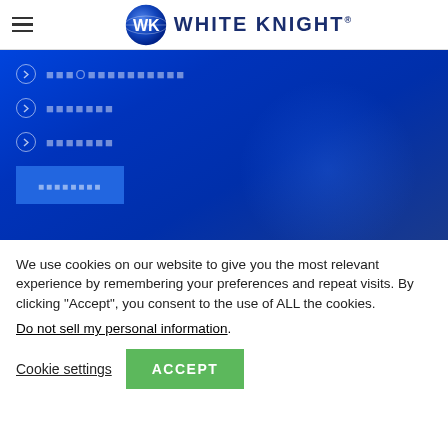[Figure (logo): White Knight logo with WK globe icon and brand name in dark blue]
[Figure (screenshot): Blue gradient banner with navigation menu items shown as tofu/unrendered characters with chevron bullets and a button]
We use cookies on our website to give you the most relevant experience by remembering your preferences and repeat visits. By clicking “Accept”, you consent to the use of ALL the cookies.
Do not sell my personal information.
Cookie settings
ACCEPT